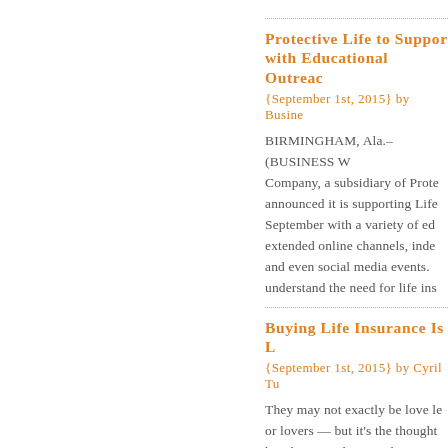Protective Life to Support with Educational Outreac
{September 1st, 2015} by Busine
BIRMINGHAM, Ala.–(BUSINESS W Company, a subsidiary of Prote announced it is supporting Life September with a variety of ed extended online channels, inde and even social media events. understand the need for life ins
Buying Life Insurance Is L
{September 1st, 2015} by Cyril Tu
They may not exactly be love le or lovers — but it's the thought has designated September as occasion of this special month, agents and financial advisors to